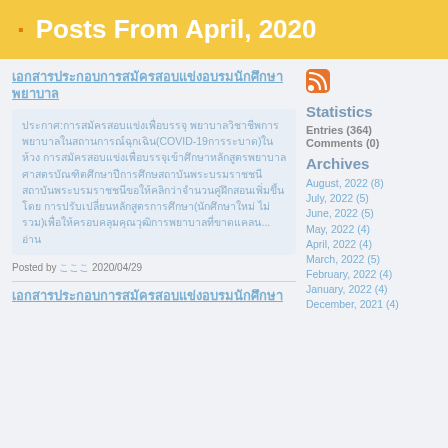Posts From April, 2020
[Figure (logo): RSS feed icon (orange)]
Statistics
Entries (364)
Comments (0)
Archives
August, 2022 (8)
July, 2022 (5)
June, 2022 (5)
May, 2022 (4)
April, 2022 (4)
March, 2022 (5)
February, 2022 (4)
January, 2022 (4)
December, 2021 (4)
Post title (Thai script)
Post body excerpt with COVID-19 reference
Posted by こここ 2020/04/29
Second post title (Thai script)